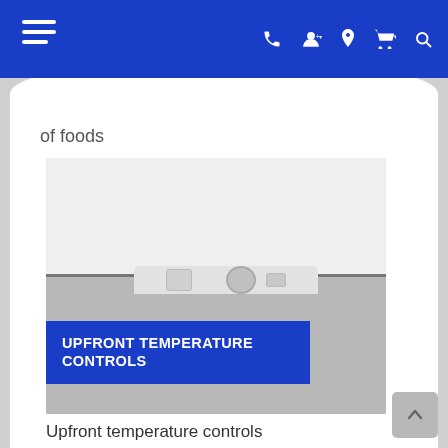Navigation bar with hamburger menu, phone, account, location, cart (0), and search icons
of foods
[Figure (photo): Close-up photo of a white refrigerator showing the upper door and lower freezer compartment with upfront temperature control panel visible at the junction. A dark blue overlay banner reads 'UPFRONT TEMPERATURE CONTROLS' in bold white uppercase text.]
Upfront temperature controls